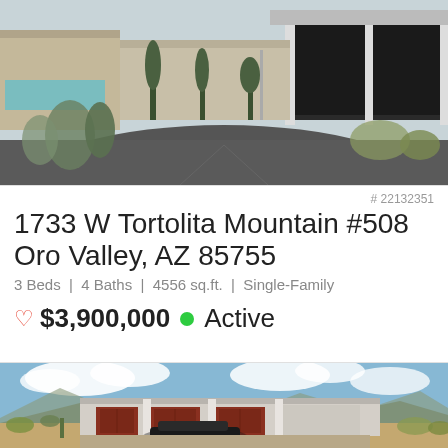[Figure (photo): Aerial/ground view of a modern luxury home driveway with dark asphalt, desert landscaping, and contemporary architecture with large garage doors]
# 22132351
1733 W Tortolita Mountain #508
Oro Valley, AZ 85755
3 Beds | 4 Baths | 4556 sq.ft. | Single-Family
♡ $3,900,000 ● Active
[Figure (photo): Photo of a modern single-story home with red/brown garage doors, desert landscape, mountains and blue sky in background, black car in driveway]